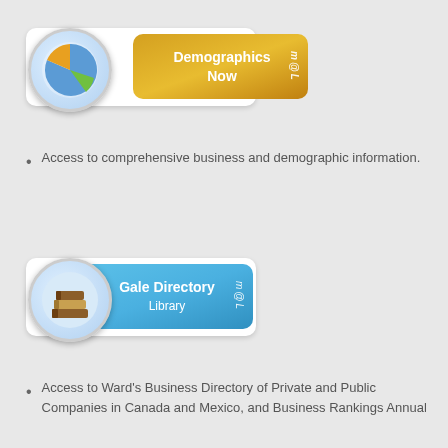[Figure (logo): Demographics Now logo badge with pie chart icon and gold/yellow background, MEL branding]
Access to comprehensive business and demographic information.
[Figure (logo): Gale Directory Library logo badge with stacked books icon and blue background, MEL branding]
Access to Ward's Business Directory of Private and Public Companies in Canada and Mexico, and Business Rankings Annual